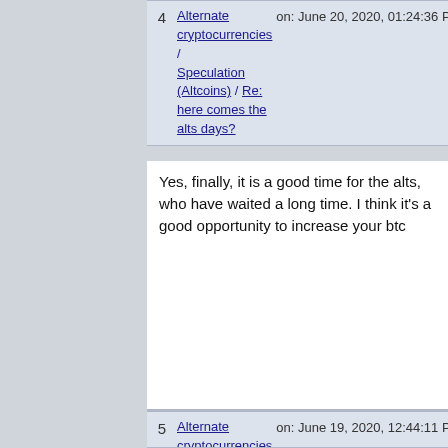4 | Alternate cryptocurrencies / Speculation (Altcoins) / Re: here comes the alts days? | on: June 20, 2020, 01:24:36 PM
Yes, finally, it is a good time for the alts, who have waited a long time. I think it's a good opportunity to increase your btc
5 | Alternate cryptocurrencies / Altcoin Discussion / Re: Will crypto really go to zero? | on: June 19, 2020, 12:44:11 PM
I don't think that cryptocurrency will really depreciate, especially now, after so much time, it would likely have happened at the very beginning. Now there is already a large infrastructure
6 | Alternate cryptocurrencies / Service Discussion (Altcoins) / Re: AIR DROPS ! wasting time or not? | on: June 19, 2020, 12:40:51 PM
Currently, most airdrops are just garbage, for which you